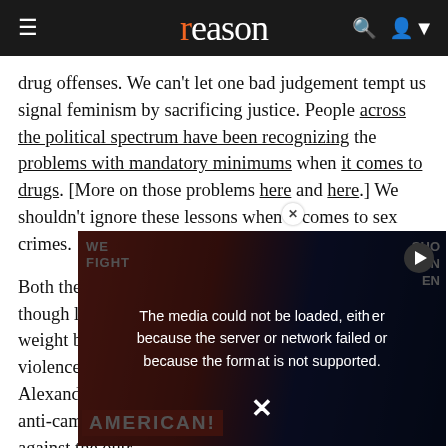reason
drug offenses. We can't let one bad judgement tempt us signal feminism by sacrificing justice. People across the political spectrum have been recognizing the problems with mandatory minimums when it comes to drugs. [More on those problems here and here.] We shouldn't ignore these lessons when it comes to sex crimes.
Both the left and the right are guilty of this ignorance, though liberal activists tend to be worse, throwing their weight behind a... sexual violence, Alexandra Brod... anti-campus rap... against the outr... stands in oppos... IX on campus, s... both recent graduates of Yale Law School—are right on
[Figure (screenshot): Video player overlay with error message: 'The media could not be loaded, either because the server or network failed or because the format is not supported.' with an X close button and play button, overlaid on a protest image showing people with signs including 'AMERICAN!' text on a red banner.]